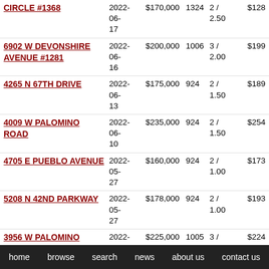| Address | Date | Price | SqFt | Bd/Ba | $/SqFt |
| --- | --- | --- | --- | --- | --- |
| CIRCLE #1368 | 2022-06-17 | $170,000 | 1324 | 2 / 2.50 | $128 |
| 6902 W DEVONSHIRE AVENUE #1281 | 2022-06-16 | $200,000 | 1006 | 3 / 2.00 | $199 |
| 4265 N 67TH DRIVE | 2022-06-13 | $175,000 | 924 | 2 / 1.50 | $189 |
| 4009 W PALOMINO ROAD | 2022-06-10 | $235,000 | 924 | 2 / 1.50 | $254 |
| 4705 E PUEBLO AVENUE | 2022-05-27 | $160,000 | 924 | 2 / 1.00 | $173 |
| 5208 N 42ND PARKWAY | 2022-05-27 | $178,000 | 924 | 2 / 1.00 | $193 |
| 3956 W PALOMINO ROAD | 2022-05-26 | $225,000 | 1005 | 3 / 1.00 | $224 |
| 4615 E SOUTH GATE AVENUE | 2022-05-24 | $199,900 | 1008 | 3 / 1.00 | $198 |
| 5381 N 41ST AVENUE | 2022-05-... | $200,000+ | 1005 | 3 / ... | $210+ |
home   browse   search   news   about us   contact us